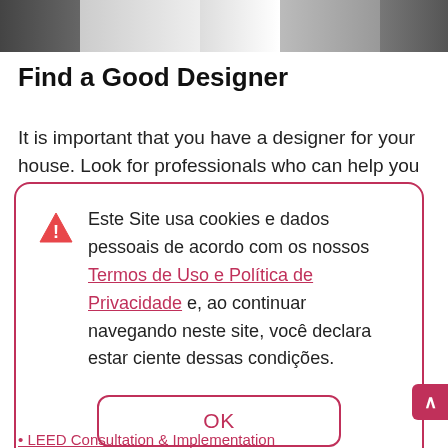[Figure (photo): Partial photo strip at top of page showing a person in white clothing]
Find a Good Designer
It is important that you have a designer for your house. Look for professionals who can help you
Este Site usa cookies e dados pessoais de acordo com os nossos Termos de Uso e Política de Privacidade e, ao continuar navegando neste site, você declara estar ciente dessas condições.
OK
LEED Consultation & Implementation